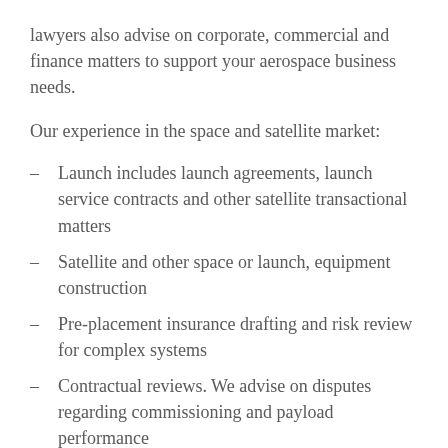lawyers also advise on corporate, commercial and finance matters to support your aerospace business needs.
Our experience in the space and satellite market:
Launch includes launch agreements, launch service contracts and other satellite transactional matters
Satellite and other space or launch, equipment construction
Pre-placement insurance drafting and risk review for complex systems
Contractual reviews. We advise on disputes regarding commissioning and payload performance